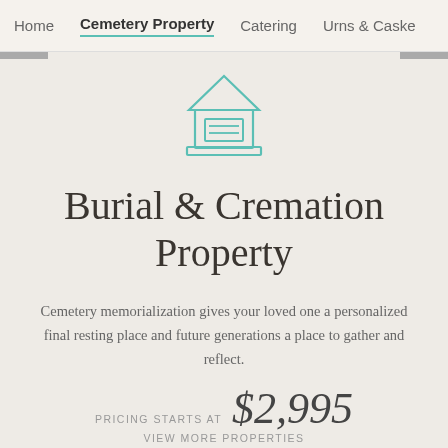Home  Cemetery Property  Catering  Urns & Caske
[Figure (illustration): Teal outline icon of a mausoleum or memorial building with columns and a triangular pediment, centered above the title]
Burial & Cremation Property
Cemetery memorialization gives your loved one a personalized final resting place and future generations a place to gather and reflect.
PRICING STARTS AT $2,995
VIEW MORE PROPERTIES